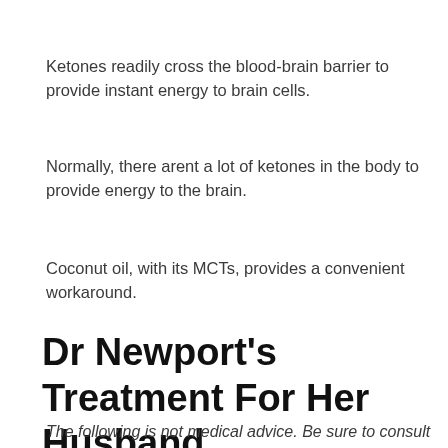Ketones readily cross the blood-brain barrier to provide instant energy to brain cells.
Normally, there arent a lot of ketones in the body to provide energy to the brain.
Coconut oil, with its MCTs, provides a convenient workaround.
Dr Newport's Treatment For Her Husband
The following is not medical advice. Be sure to consult your